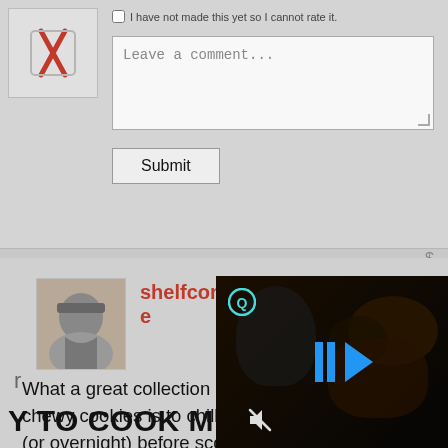[Figure (screenshot): Comment form with checkbox 'I have not made this yet so I cannot rate it', a textarea with placeholder 'Leave a comment...', and a Submit button]
I have not made this yet so I cannot rate it.
Leave a comment...
Submit
shelfconsciouskatie
Jul 08, 2016
What a great collection of tips! My favorite tip for chewy cookies is to chill the dough for 1-2 hours (or overnight) before scooping it out and baking.
Reply
r
Y TO COOK MEALS
[Figure (screenshot): Video player overlay showing food/cooking content with play controls (two vertical bars and a play arrow triangle) in blue, a Q logo icon top-left, and a mute icon bottom-left]